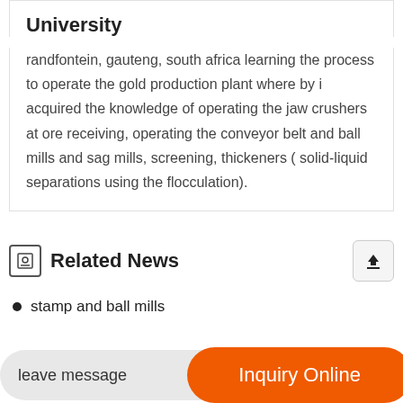University
randfontein, gauteng, south africa learning the process to operate the gold production plant where by i acquired the knowledge of operating the jaw crushers at ore receiving, operating the conveyor belt and ball mills and sag mills, screening, thickeners ( solid-liquid separations using the flocculation).
Related News
stamp and ball mills